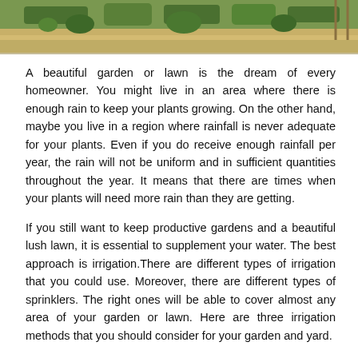[Figure (photo): Aerial view of a formal garden with neatly trimmed hedges, pathways, and planted beds]
A beautiful garden or lawn is the dream of every homeowner. You might live in an area where there is enough rain to keep your plants growing. On the other hand, maybe you live in a region where rainfall is never adequate for your plants. Even if you do receive enough rainfall per year, the rain will not be uniform and in sufficient quantities throughout the year. It means that there are times when your plants will need more rain than they are getting.
If you still want to keep productive gardens and a beautiful lush lawn, it is essential to supplement your water. The best approach is irrigation.There are different types of irrigation that you could use. Moreover, there are different types of sprinklers. The right ones will be able to cover almost any area of your garden or lawn. Here are three irrigation methods that you should consider for your garden and yard.